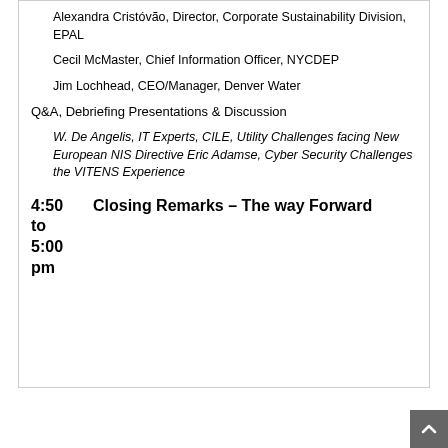Alexandra Cristóvão, Director, Corporate Sustainability Division, EPAL
Cecil McMaster, Chief Information Officer, NYCDEP
Jim Lochhead, CEO/Manager, Denver Water
Q&A, Debriefing Presentations & Discussion
W. De Angelis, IT Experts, CILE, Utility Challenges facing New European NIS Directive Eric Adamse, Cyber Security Challenges the VITENS Experience
4:50 to 5:00 pm
Closing Remarks – The way Forward